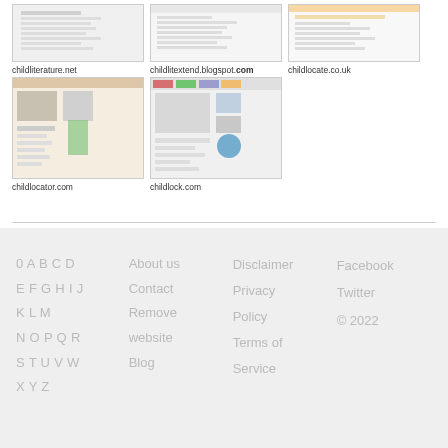[Figure (screenshot): Thumbnail screenshot of childliterature.net]
childliterature.net
[Figure (screenshot): Thumbnail screenshot of childlitextend.blogspot.com]
childlitextend.blogspot.com
[Figure (screenshot): Thumbnail screenshot of childlocate.co.uk]
childlocate.co.uk
[Figure (screenshot): Thumbnail screenshot of childlocator.com]
childlocator.com
[Figure (screenshot): Thumbnail screenshot of childlock.com]
childlock.com
0 A B C D
E F G H I J
K L M
N O P Q R
S T U V W
X Y Z
About us
Contact
Remove website
Blog
Disclaimer
Privacy Policy
Terms of Service
Facebook
Twitter
© 2022